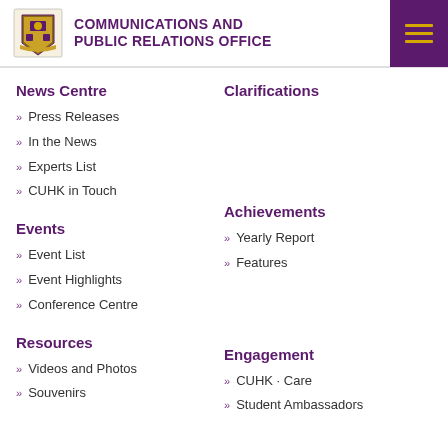COMMUNICATIONS AND PUBLIC RELATIONS OFFICE
News Centre
Press Releases
In the News
Experts List
CUHK in Touch
Clarifications
Events
Event List
Event Highlights
Conference Centre
Achievements
Yearly Report
Features
Resources
Videos and Photos
Souvenirs
Engagement
CUHK · Care
Student Ambassadors